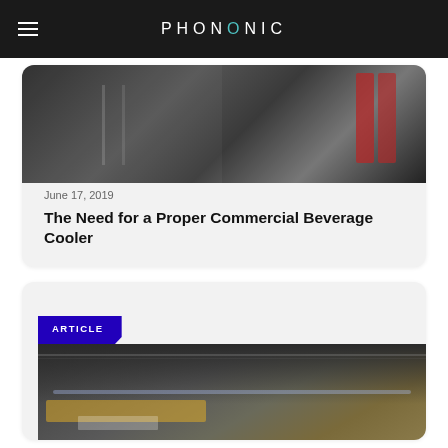PHONONIC
[Figure (photo): Photo of a commercial beverage cooler/refrigerator with beverages visible inside]
June 17, 2019
The Need for a Proper Commercial Beverage Cooler
ARTICLE
[Figure (photo): Photo of a dark commercial cooler unit with illuminated interior showing packaged beverages]